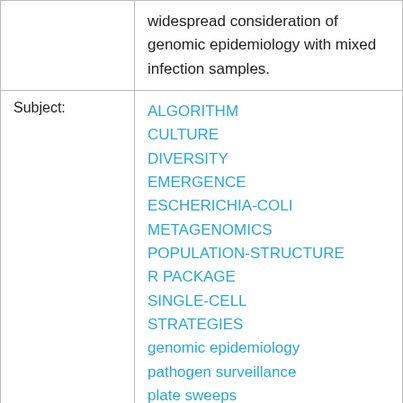|  | widespread consideration of genomic epidemiology with mixed infection samples. |
| Subject: | ALGORITHM
CULTURE
DIVERSITY
EMERGENCE
ESCHERICHIA-COLI
METAGENOMICS
POPULATION-STRUCTURE
R PACKAGE
SINGLE-CELL
STRATEGIES
genomic epidemiology
pathogen surveillance
plate sweeps
probabilistic modelling
pseudoalignment |